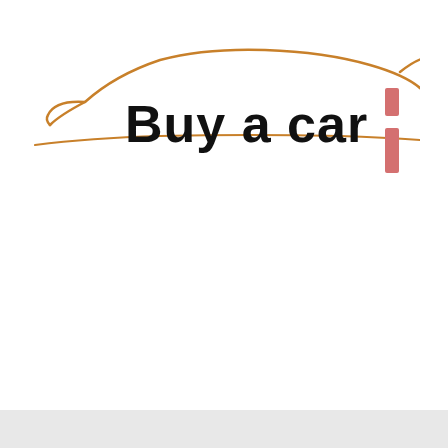[Figure (logo): Buy a car logo with orange car silhouette outline and black bold text 'Buy a car', with two small pink/salmon vertical rectangle bars on the right side]